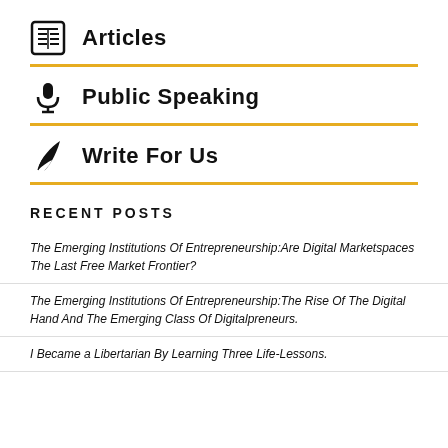Articles
Public Speaking
Write For Us
RECENT POSTS
The Emerging Institutions Of Entrepreneurship:Are Digital Marketspaces The Last Free Market Frontier?
The Emerging Institutions Of Entrepreneurship:The Rise Of The Digital Hand And The Emerging Class Of Digitalpreneurs.
I Became a Libertarian By Learning Three Life-Lessons.